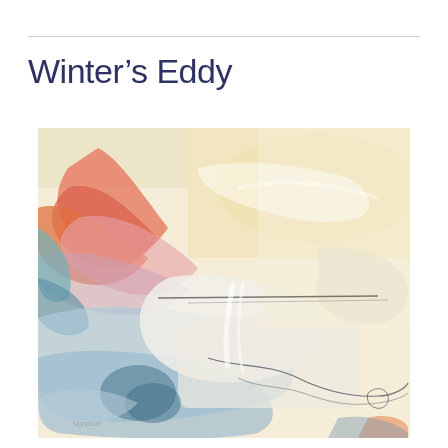Winter’s Eddy
[Figure (illustration): Abstract oil painting with warm creamy yellows and pale blues. Left side features bold strokes of coral, pink, orange, and teal colors swirling together. The right and lower portions are dominated by pale white and light blue-grey washes with gestural drawn lines suggesting a wintry landscape or eddying water.]